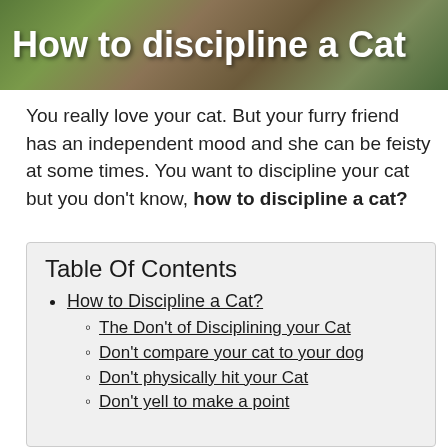[Figure (photo): Hero image of a cat with overlaid white bold text reading 'How to discipline a Cat']
You really love your cat. But your furry friend has an independent mood and she can be feisty at some times. You want to discipline your cat but you don't know, how to discipline a cat?
Table Of Contents
How to Discipline a Cat?
The Don't of Disciplining your Cat
Don't compare your cat to your dog
Don't physically hit your Cat
Don't yell to make a point